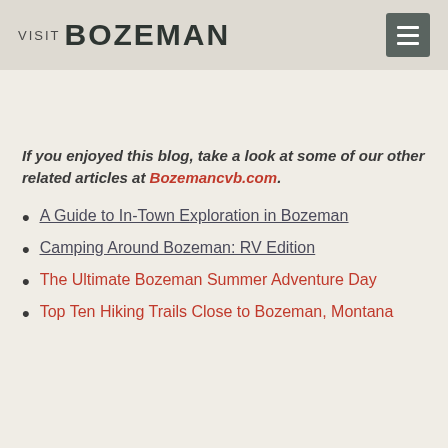VISIT BOZEMAN
If you enjoyed this blog, take a look at some of our other related articles at Bozemancvb.com.
A Guide to In-Town Exploration in Bozeman
Camping Around Bozeman: RV Edition
The Ultimate Bozeman Summer Adventure Day
Top Ten Hiking Trails Close to Bozeman, Montana